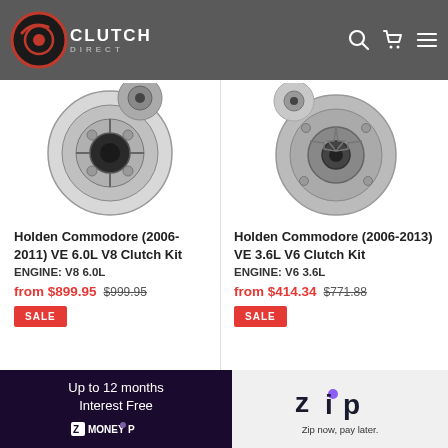[Figure (logo): Clutch Direct logo with red circle emblem and navigation icons (search, cart, menu) on grey header bar]
[Figure (photo): Holden Commodore VE 6.0L V8 clutch kit product photo showing clutch disc and flywheel assembly]
Holden Commodore (2006-2011) VE 6.0L V8 Clutch Kit ENGINE: V8 6.0L
from $899.95  $999.95
SALE
[Figure (photo): Holden Commodore VE 3.6L V6 clutch kit product photo showing clutch disc and pressure plate assembly]
Holden Commodore (2006-2013) VE 3.6L V6 Clutch Kit ENGINE: V6 3.6L
from $414.34  $771.88
SALE
[Figure (infographic): Dark purple promotional banner: Up to 12 months Interest Free with ZipMoney logo on left, and Zip (now pay later) logo on right white section]